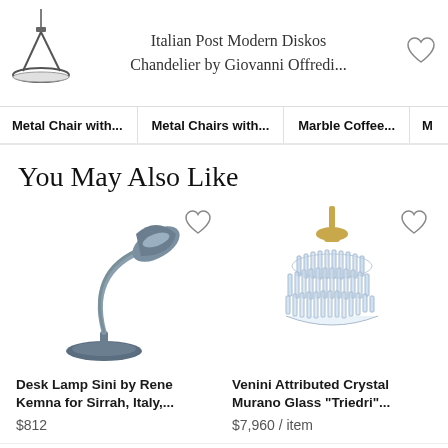Italian Post Modern Diskos Chandelier by Giovanni Offredi...
Metal Chair with...  Metal Chairs with...  Marble Coffee...  M
You May Also Like
[Figure (photo): Desk lamp with arched silver/blue metal arm and round base - Desk Lamp Sini by Rene Kemna for Sirrah, Italy]
Desk Lamp Sini by Rene Kemna for Sirrah, Italy,...
$812
[Figure (photo): Crystal chandelier with tiered glass elements and brass ceiling canopy - Venini Attributed Crystal Murano Glass Triedri chandelier]
Venini Attributed Crystal Murano Glass "Triedri"...
$7,960 / item